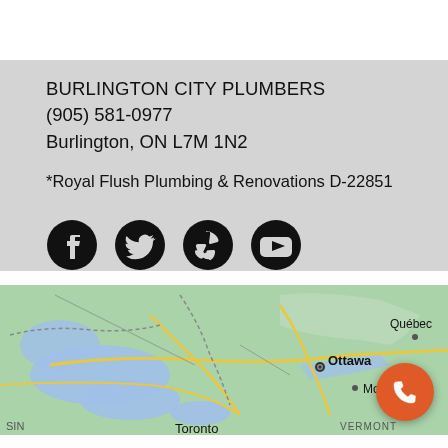BURLINGTON CITY PLUMBERS
(905) 581-0977
Burlington, ON L7M 1N2
*Royal Flush Plumbing & Renovations D-22851
[Figure (infographic): Social media icons: Facebook, Twitter, Yelp, YouTube]
[Figure (map): Google map showing Eastern Canada and northeastern USA including Toronto, Ottawa, Montreal, Quebec, Vermont, and Great Lakes region. An orange phone call button overlays the bottom right corner.]